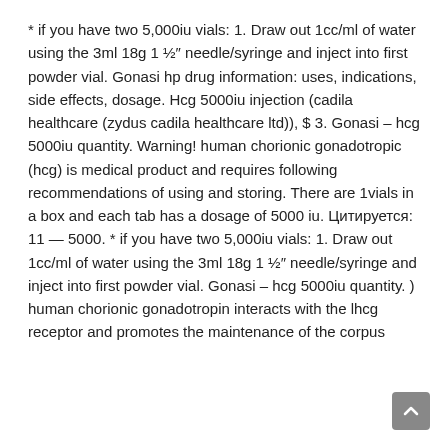* if you have two 5,000iu vials: 1. Draw out 1cc/ml of water using the 3ml 18g 1 ½″ needle/syringe and inject into first powder vial. Gonasi hp drug information: uses, indications, side effects, dosage. Hcg 5000iu injection (cadila healthcare (zydus cadila healthcare ltd)), $ 3. Gonasi – hcg 5000iu quantity. Warning! human chorionic gonadotropic (hcg) is medical product and requires following recommendations of using and storing. There are 1vials in a box and each tab has a dosage of 5000 iu. Цитируется: 11 — 5000. * if you have two 5,000iu vials: 1. Draw out 1cc/ml of water using the 3ml 18g 1 ½″ needle/syringe and inject into first powder vial. Gonasi – hcg 5000iu quantity. ) human chorionic gonadotropin interacts with the lhcg receptor and promotes the maintenance of the corpus